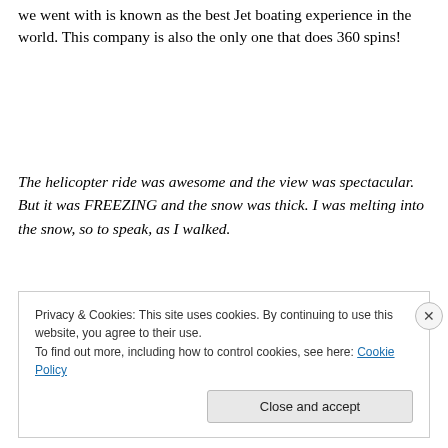we went with is known as the best Jet boating experience in the world. This company is also the only one that does 360 spins!
The helicopter ride was awesome and the view was spectacular. But it was FREEZING and the snow was thick. I was melting into the snow, so to speak, as I walked.
[Figure (photo): Broken/missing image placeholder icon with a small landscape thumbnail icon]
Privacy & Cookies: This site uses cookies. By continuing to use this website, you agree to their use.
To find out more, including how to control cookies, see here: Cookie Policy